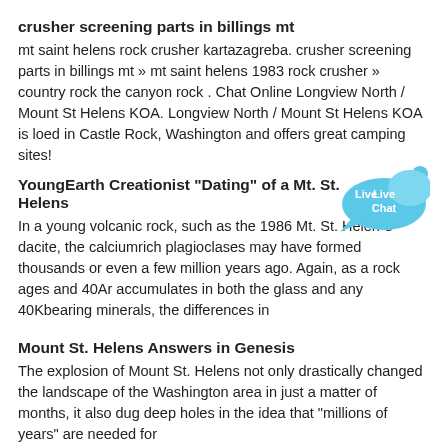crusher screening parts in billings mt
mt saint helens rock crusher kartazagreba. crusher screening parts in billings mt » mt saint helens 1983 rock crusher » country rock the canyon rock . Chat Online Longview North / Mount St Helens KOA. Longview North / Mount St Helens KOA is loed in Castle Rock, Washington and offers great camping sites!
YoungEarth Creationist "Dating" of a Mt. St. Helens
[Figure (illustration): Live Chat bubble graphic in blue]
In a young volcanic rock, such as the 1986 Mt. St. Helen"s dacite, the calciumrich plagioclases may have formed thousands or even a few million years ago. Again, as a rock ages and 40Ar accumulates in both the glass and any 40Kbearing minerals, the differences in
Mount St. Helens Answers in Genesis
The explosion of Mount St. Helens not only drastically changed the landscape of the Washington area in just a matter of months, it also dug deep holes in the idea that "millions of years" are needed for